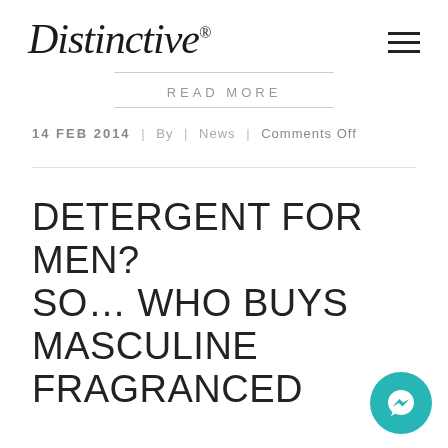Distinctive®
READ MORE
14 FEB 2014  |  By  |  News  |  Comments Off
DETERGENT FOR MEN? SO… WHO BUYS MASCULINE FRAGRANCED